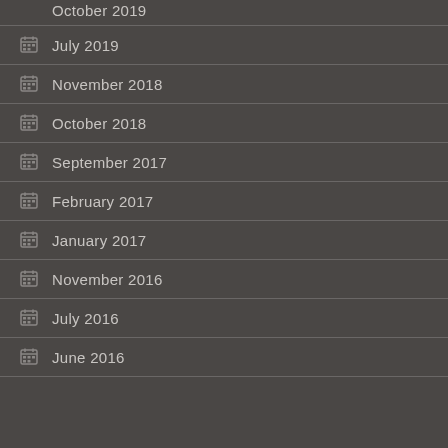October 2019
July 2019
November 2018
October 2018
September 2017
February 2017
January 2017
November 2016
July 2016
June 2016